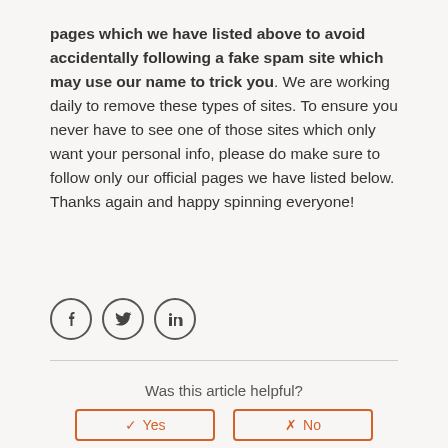pages which we have listed above to avoid accidentally following a fake spam site which may use our name to trick you. We are working daily to remove these types of sites. To ensure you never have to see one of those sites which only want your personal info, please do make sure to follow only our official pages we have listed below. Thanks again and happy spinning everyone!
[Figure (other): Three social media icon circles: Facebook (f), Twitter (bird), LinkedIn (in)]
Was this article helpful?
Yes | No buttons